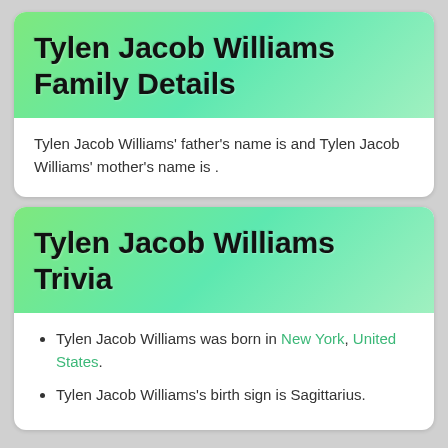Tylen Jacob Williams Family Details
Tylen Jacob Williams' father's name is and Tylen Jacob Williams' mother's name is .
Tylen Jacob Williams Trivia
Tylen Jacob Williams was born in New York, United States.
Tylen Jacob Williams's birth sign is Sagittarius.